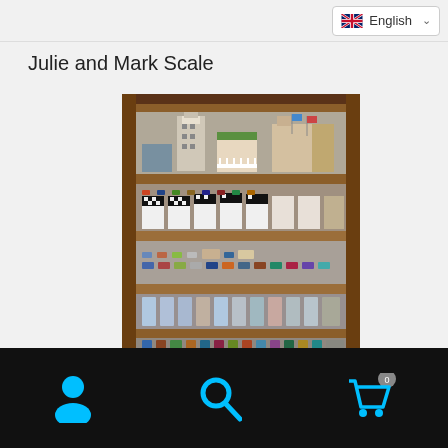English (language selector)
Julie and Mark Scale
[Figure (photo): Wooden bookshelf with multiple shelves displaying a large collection of scale model cars, diecast vehicles in boxes, and miniature buildings/dioramas. Top shelf has model buildings and scenery, lower shelves contain boxed and loose diecast cars.]
Navigation footer with person icon, search icon, and shopping cart icon showing 0 items